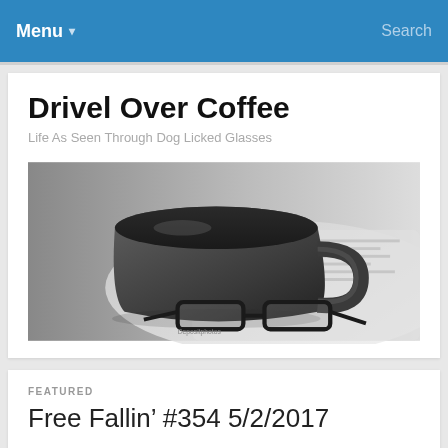Menu ▾  Search
Drivel Over Coffee
Life As Seen Through Dog Licked Glasses
[Figure (photo): Black and white photo of a coffee mug and glasses resting on a newspaper]
FEATURED
Free Fallin' #354 5/2/2017
“It's a long day livin' in Reseda. There’s a freeway runnin' through the yard. I'm a bad boy, 'cause I don't even miss her. I'm a bad boy for breakin' her heart. Now I'm free, I'm free fallin'. Yea I'm free, free fallin'.”